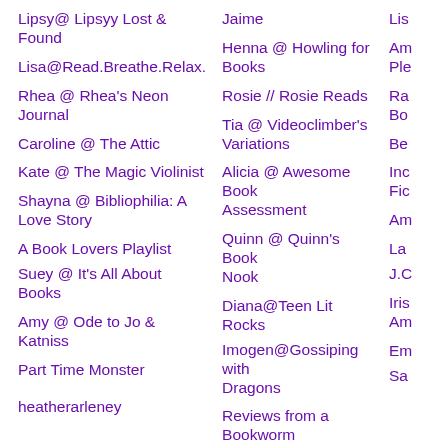Lipsy@ Lipsyy Lost & Found
Lisa@Read.Breathe.Relax.
Rhea @ Rhea's Neon Journal
Caroline @ The Attic
Kate @ The Magic Violinist
Shayna @ Bibliophilia: A Love Story
A Book Lovers Playlist
Suey @ It's All About Books
Amy @ Ode to Jo & Katniss
Part Time Monster
heatherarleney
Jaime
Henna @ Howling for Books
Rosie // Rosie Reads
Tia @ Videoclimber's Variations
Alicia @ Awesome Book Assessment
Quinn @ Quinn's Book Nook
Diana@Teen Lit Rocks
Imogen@Gossiping with Dragons
Reviews from a Bookworm
Brin's Book Blog
Lori @ Ficwishes
Lis
Am Ple
Ra Bo
Be
Inc Fic
Am
La
J.C
Iris Am
Em
Sa